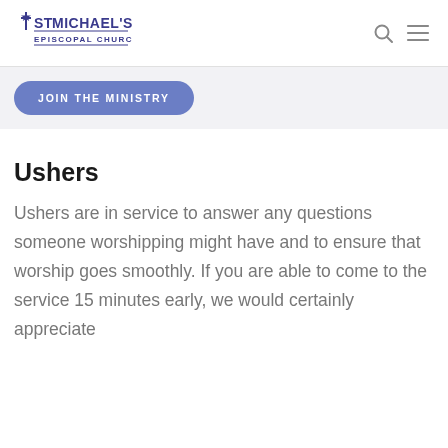St Michael's Episcopal Church
JOIN THE MINISTRY
Ushers
Ushers are in service to answer any questions someone worshipping might have and to ensure that worship goes smoothly.  If you are able to come to the service 15 minutes early, we would certainly appreciate